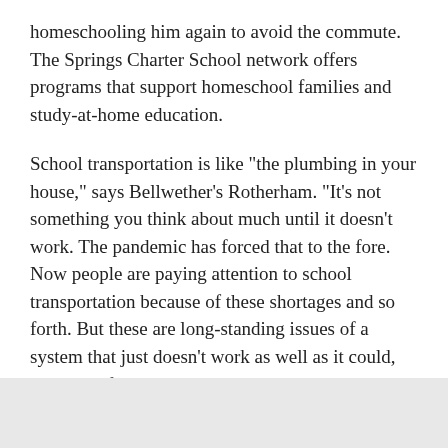homeschooling him again to avoid the commute. The Springs Charter School network offers programs that support homeschool families and study-at-home education.
School transportation is like "the plumbing in your house," says Bellwether's Rotherham. "It's not something you think about much until it doesn't work. The pandemic has forced that to the fore. Now people are paying attention to school transportation because of these shortages and so forth. But these are long-standing issues of a system that just doesn't work as well as it could, but kind of is in the background and people aren't thinking about it. And some of these issues we're seeing now around choice and parents wanting different things are going to bring that to the surface."